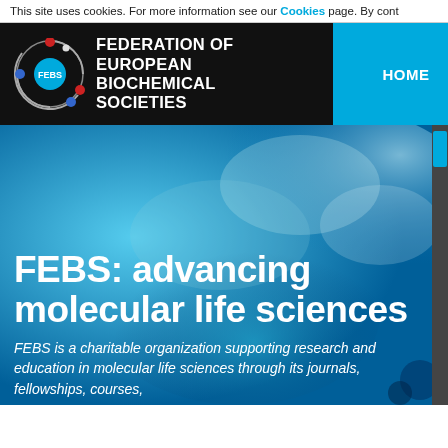This site uses cookies. For more information see our Cookies page. By cont
[Figure (logo): FEBS (Federation of European Biochemical Societies) logo with circular molecular graphic and organization name]
HOME | ABOUT US
FEBS: advancing molecular life sciences
FEBS is a charitable organization supporting research and education in molecular life sciences through its journals, fellowships, courses,